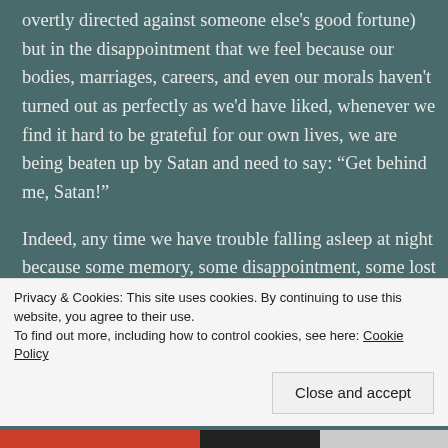overtly directed against someone else's good fortune) but in the disappointment that we feel because our bodies, marriages, careers, and even our morals haven't turned out as perfectly as we'd have liked, whenever we find it hard to be grateful for our own lives, we are being beaten up by Satan and need to say: “Get behind me, Satan!”
Indeed, any time we have trouble falling asleep at night because some memory, some disappointment, some lost love, some wrong-turn taken, or some obsession won’t let go and give us enough calm to sleep, Satan is
Privacy & Cookies: This site uses cookies. By continuing to use this website, you agree to their use.
To find out more, including how to control cookies, see here: Cookie Policy